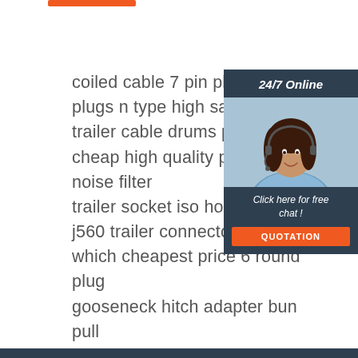coiled cable 7 pin plastic trail
plugs n type high safety prop
trailer cable drums portugal
cheap high quality power cab noise filter
trailer socket iso hot-selling
j560 trailer connector norway
which cheapest price 6 round plug
gooseneck hitch adapter bun pull
trailer cable holder sweden
vw trailer socket nauru
velvac trailer cable tonga
best selling 16 4 trailer cable
haul trailer light vanuatu
[Figure (photo): Customer service widget showing a woman with headset, '24/7 Online' label, 'Click here for free chat!' text, and an orange QUOTATION button, on a dark navy background.]